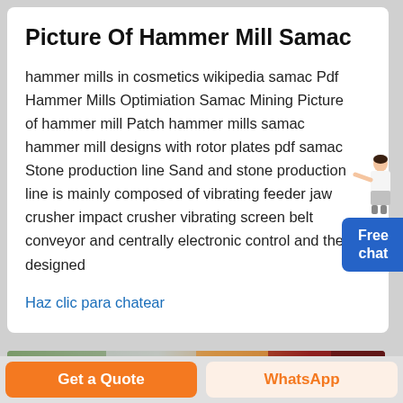Picture Of Hammer Mill Samac
hammer mills in cosmetics wikipedia samac Pdf Hammer Mills Optimiation Samac Mining Picture of hammer mill Patch hammer mills samac hammer mill designs with rotor plates pdf samac Stone production line Sand and stone production line is mainly composed of vibrating feeder jaw crusher impact crusher vibrating screen belt conveyor and centrally electronic control and the designed
Haz clic para chatear
[Figure (photo): Photograph strip showing industrial/outdoor scenes at the bottom of the page]
Get a Quote
WhatsApp